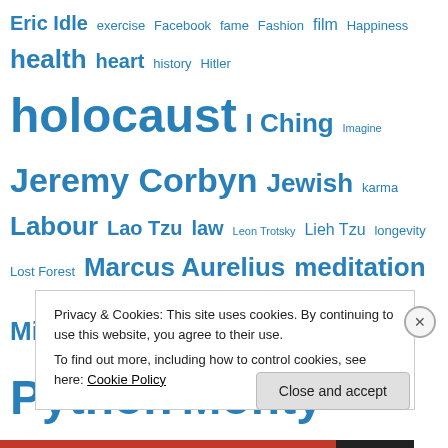Eric Idle exercise Facebook fame Fashion film Happiness health heart history Hitler holocaust I Ching Imagine Jeremy Corbyn Jewish karma Labour Lao Tzu law Leon Trotsky Lieh Tzu longevity Lost Forest Marcus Aurelius meditation Michael Palin Monty Python Monty Python and The Holy Grail nazi Nazis New York Times philosophy poland publisher Rudolf Reder sage Seneca Socrates Spamalot stress Tao Taoism Taoist Tao Te Ching Terry
Privacy & Cookies: This site uses cookies. By continuing to use this website, you agree to their use.
To find out more, including how to control cookies, see here: Cookie Policy
Close and accept